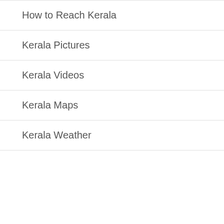How to Reach Kerala
Kerala Pictures
Kerala Videos
Kerala Maps
Kerala Weather